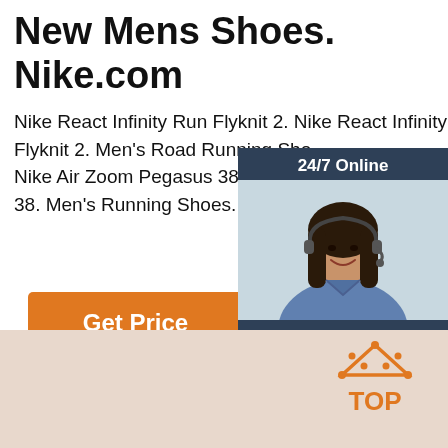New Mens Shoes. Nike.com
Nike React Infinity Run Flyknit 2. Nike React Infinity Run Flyknit 2. Men's Road Running Sho... Nike Air Zoom Pegasus 38. Nike Air Zoo... 38. Men's Running Shoes. $120. Air Jor...
[Figure (screenshot): Orange 'Get Price' button]
[Figure (infographic): Chat widget overlay showing '24/7 Online' header, woman with headset photo, 'Click here for free chat!' text, and orange 'QUOTATION' button on dark blue background]
[Figure (logo): Orange TOP button with house/arrow icon on tan/beige background at bottom right]